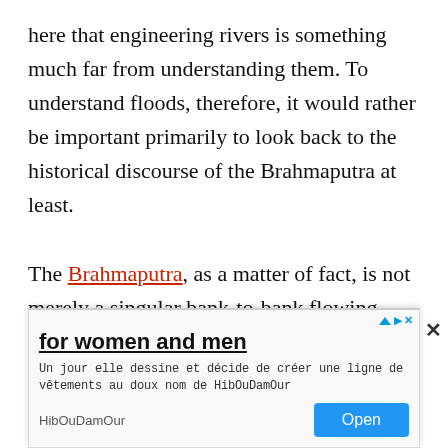here that engineering rivers is something much far from understanding them. To understand floods, therefore, it would rather be important primarily to look back to the historical discourse of the Brahmaputra at least.

The Brahmaputra, as a matter of fact, is not merely a singular bank-to-bank flowing body, but a well-fed water system with more than 50 tributary rivers contributing to it. As the information says, the river discharges around 19,830 cubic meters of water per second that ranks it among the highest water carriers
[Figure (other): Advertisement overlay at bottom of page. Headline: 'for women and men'. Description in French: 'Un jour elle dessine et décide de créer une ligne de vêtements au doux nom de HibOuDamOur'. Brand: HibOuDamOur. Open button. Close X button. AdChoices icon.]